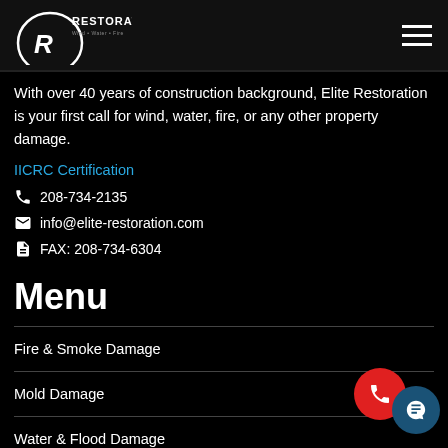Elite Restoration – Wind Water Fire
With over 40 years of construction background, Elite Restoration is your first call for wind, water, fire, or any other property damage.
IICRC Certification
208-734-2135
info@elite-restoration.com
FAX: 208-734-6304
Menu
Fire & Smoke Damage
Mold Damage
Water & Flood Damage
Wind Damage